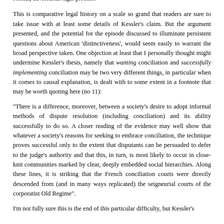formal, adversarial legal process.
This is comparative legal history on a scale so grand that readers are sure to take issue with at least some details of Kessler's claim. But the argument presented, and the potential for the episode discussed to illuminate persistent questions about American 'distinctiveness', would seem easily to warrant the broad perspective taken. One objection at least that I personally thought might undermine Kessler's thesis, namely that wanting conciliation and successfully implementing conciliation may be two very different things, in particular when it comes to causal explanation, is dealt with to some extent in a footnote that may be worth quoting here (no 11):
"There is a difference, moreover, between a society's desire to adopt informal methods of dispute resolution (including conciliation) and its ability successfully to do so. A closer reading of the evidence may well show that whatever a society's reasons for seeking to embrace conciliation, the technique proves successful only to the extent that disputants can be persuaded to defer to the judge's authority and that this, in turn, is most likely to occur in close-knit communities marked by clear, deeply embedded social hierarchies. Along these lines, it is striking that the French conciliation courts were directly descended from (and in many ways replicated) the seigneurial courts of the corporatist Old Regime".
I'm not fully sure this is the end of this particular difficulty, but Kessler's